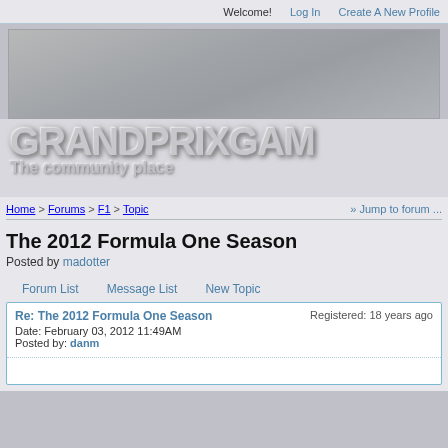Welcome!   Log In   Create A New Profile
[Figure (illustration): Gray banner advertisement area]
GRANDPRIXGAM The community place
Home > Forums > F1 > Topic   » Jump to forum ...
The 2012 Formula One Season
Posted by: madotter
Forum List   Message List   New Topic
Re: The 2012 Formula One Season
Date: February 03, 2012 11:49AM
Posted by: danm
Registered: 18 years ago